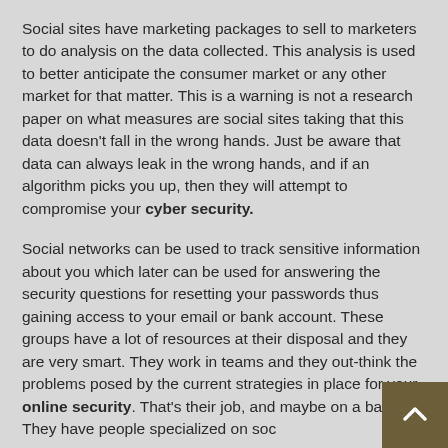Social sites have marketing packages to sell to marketers to do analysis on the data collected. This analysis is used to better anticipate the consumer market or any other market for that matter. This is a warning is not a research paper on what measures are social sites taking that this data doesn't fall in the wrong hands. Just be aware that data can always leak in the wrong hands, and if an algorithm picks you up, then they will attempt to compromise your cyber security.
Social networks can be used to track sensitive information about you which later can be used for answering the security questions for resetting your passwords thus gaining access to your email or bank account. These groups have a lot of resources at their disposal and they are very smart. They work in teams and they out-think the problems posed by the current strategies in place for your online security. That's their job, and maybe on a basis. They have people specialized on soc...